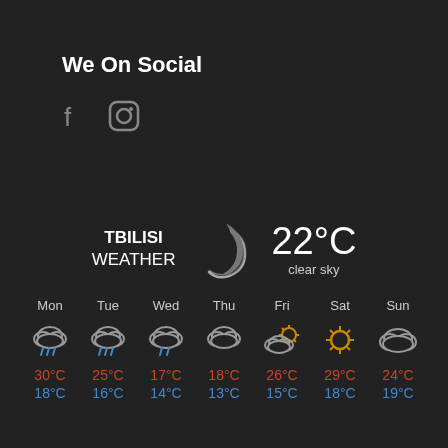We On Social
[Figure (illustration): Facebook and Instagram social media icons]
[Figure (infographic): Tbilisi weather widget showing 22°C clear sky with 7-day forecast. Mon: 30°C/18°C rain, Tue: 25°C/16°C rain, Wed: 17°C/14°C rain, Thu: 18°C/13°C cloud, Fri: 26°C/15°C partly cloudy, Sat: 29°C/18°C sunny, Sun: 24°C/19°C cloud]